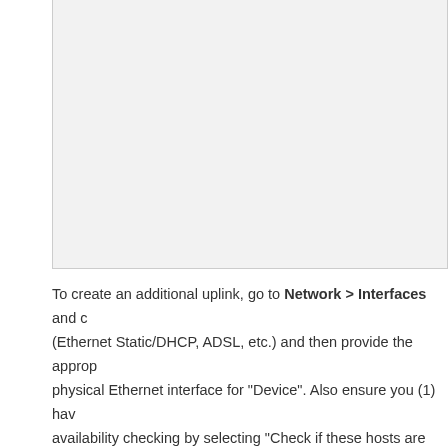[Figure (screenshot): A screenshot or image placeholder region with light gray background and border, cropped at the top of the page.]
To create an additional uplink, go to Network > Interfaces and c... (Ethernet Static/DHCP, ADSL, etc.) and then provide the approp... physical Ethernet interface for "Device". Also ensure you (1) hav... availability checking by selecting "Check if these hosts are reach... addresses.